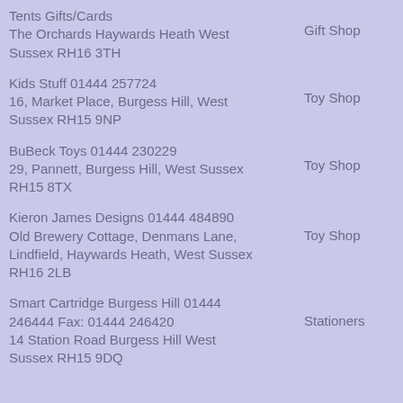Tents Gifts/Cards
The Orchards Haywards Heath West Sussex RH16 3TH
Gift Shop
Kids Stuff 01444 257724
16, Market Place, Burgess Hill, West Sussex RH15 9NP
Toy Shop
BuBeck Toys 01444 230229
29, Pannett, Burgess Hill, West Sussex RH15 8TX
Toy Shop
Kieron James Designs 01444 484890
Old Brewery Cottage, Denmans Lane, Lindfield, Haywards Heath, West Sussex RH16 2LB
Toy Shop
Smart Cartridge Burgess Hill 01444 246444 Fax: 01444 246420
14 Station Road Burgess Hill West Sussex RH15 9DQ
Stationers